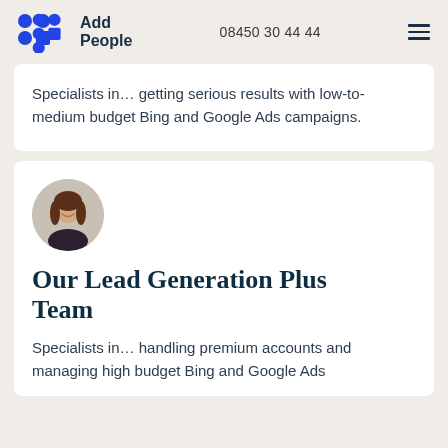Add People  08450 30 44 44
Specialists in… getting serious results with low-to-medium budget Bing and Google Ads campaigns.
[Figure (photo): Circular avatar photo of a woman with long brown hair, smiling, on a light background.]
Our Lead Generation Plus Team
Specialists in… handling premium accounts and managing high budget Bing and Google Ads